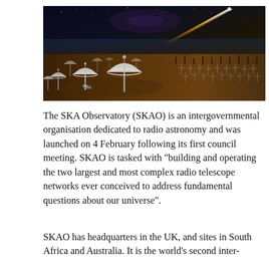[Figure (illustration): Artist's impression of the SKA Observatory radio telescope array, showing large satellite dish antennas in a desert landscape with a dramatic night sky featuring a comet or meteor streak overhead. The right side shows many smaller dipole antennas arranged in a field.]
The SKA Observatory (SKAO) is an intergovernmental organisation dedicated to radio astronomy and was launched on 4 February following its first council meeting. SKAO is tasked with "building and operating the two largest and most complex radio telescope networks ever conceived to address fundamental questions about our universe".
SKAO has headquarters in the UK, and sites in South Africa and Australia. It is the world's second inter-